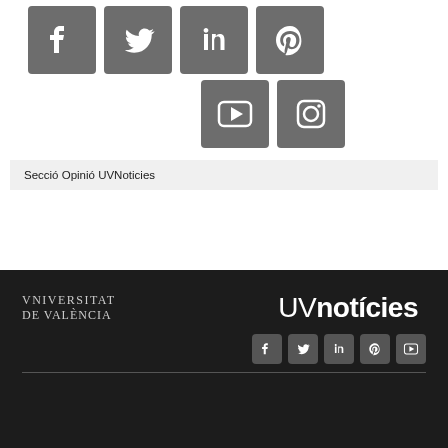[Figure (logo): Social media icons row 1: Facebook, Twitter, LinkedIn, Pinterest (grey square icons)]
[Figure (logo): Social media icons row 2: YouTube, Instagram (grey square icons)]
Secció Opinió UVNoticies
[Figure (logo): Footer with Universitat de València logo and UVnoticies logo on dark background, with small social media icons (Facebook, Twitter, LinkedIn, Pinterest, YouTube) and a horizontal divider line]